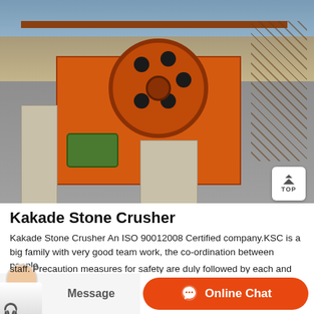[Figure (photo): Industrial stone crusher machine with large orange body and orange flywheel with circular holes, mounted on concrete pillars at a quarry/mining site. A green motor is visible at the base. Rocky hills visible in background. A white 'TOP' scroll button is in the lower right of the image.]
Kakade Stone Crusher
Kakade Stone Crusher An ISO 90012008 Certified company.KSC is a big family with very good team work, the co-ordination between people...
staff. Precaution measures for safety are duly followed by each and...